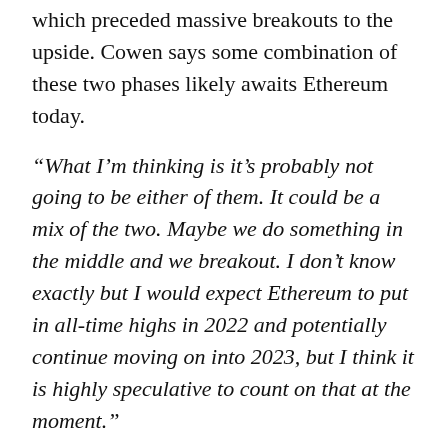which preceded massive breakouts to the upside. Cowen says some combination of these two phases likely awaits Ethereum today.
“What I’m thinking is it’s probably not going to be either of them. It could be a mix of the two. Maybe we do something in the middle and we breakout. I don’t know exactly but I would expect Ethereum to put in all-time highs in 2022 and potentially continue moving on into 2023, but I think it is highly speculative to count on that at the moment.”
Cowen notes that Ethereum’s current consolidation phase is similar to 2016 in that it’s sticking within a 2x window. While ETH ranged between $8 and $16 in 2016, it has been